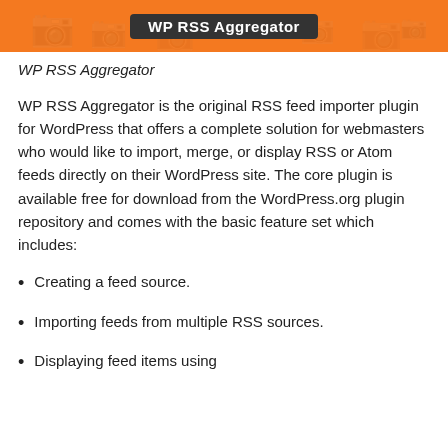[Figure (screenshot): Orange banner with dark label reading 'WP RSS Aggregator' and faint RSS/camera icons in background]
WP RSS Aggregator
WP RSS Aggregator is the original RSS feed importer plugin for WordPress that offers a complete solution for webmasters who would like to import, merge, or display RSS or Atom feeds directly on their WordPress site. The core plugin is available free for download from the WordPress.org plugin repository and comes with the basic feature set which includes:
Creating a feed source.
Importing feeds from multiple RSS sources.
Displaying feed items using